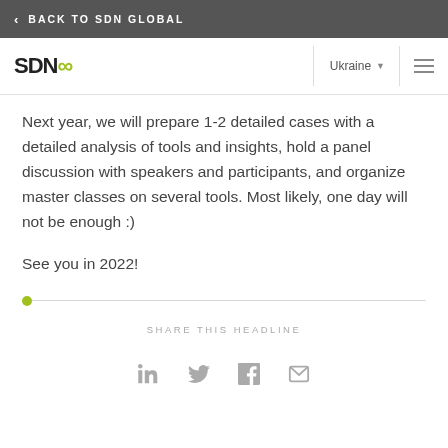BACK TO SDN GLOBAL
[Figure (logo): SDN infinity logo with Ukraine dropdown and hamburger menu]
Next year, we will prepare 1-2 detailed cases with a detailed analysis of tools and insights, hold a panel discussion with speakers and participants, and organize master classes on several tools. Most likely, one day will not be enough :)
See you in 2022!
SHARE THIS HEADLINE
[Figure (infographic): Social sharing icons: LinkedIn, Twitter, Facebook, Email]